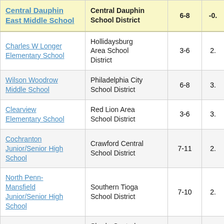| School | District | Grades | Value |
| --- | --- | --- | --- |
| Central Dauphin East Middle School | Central Dauphin School District | 6-8 | -0. |
| Charles W Longer Elementary School | Hollidaysburg Area School District | 3-6 | 2. |
| Wilson Woodrow Middle School | Philadelphia City School District | 6-8 | 3. |
| Clearview Elementary School | Red Lion Area School District | 3-6 | 3. |
| Cochranton Junior/Senior High School | Crawford Central School District | 7-11 | 2. |
| North Penn-Mansfield Junior/Senior High School | Southern Tioga School District | 7-10 | 2. |
| Cairnbrook Elementary School | Shade-Central City School District | 3-6 | 4. |